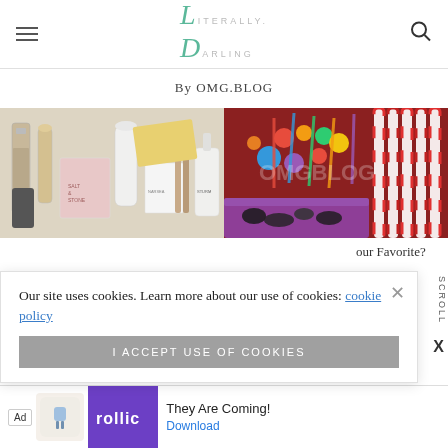Literally Darling
By OMG.BLOG
[Figure (photo): Flat lay of beauty and skincare products including bottles, tubes, and boxes on white background]
[Figure (photo): Colorful candy store display with candy canes and assorted sweets]
Our site uses cookies. Learn more about our use of cookies: cookie policy
I ACCEPT USE OF COOKIES
our Favorite?
SCROLL
[Figure (screenshot): Ad banner: Rollic game ad - They Are Coming! with Download button]